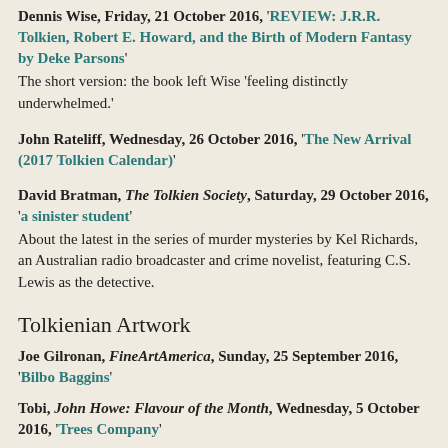Dennis Wise, Friday, 21 October 2016, 'REVIEW: J.R.R. Tolkien, Robert E. Howard, and the Birth of Modern Fantasy by Deke Parsons'
The short version: the book left Wise 'feeling distinctly underwhelmed.'
John Rateliff, Wednesday, 26 October 2016, 'The New Arrival (2017 Tolkien Calendar)'
David Bratman, The Tolkien Society, Saturday, 29 October 2016, 'a sinister student'
About the latest in the series of murder mysteries by Kel Richards, an Australian radio broadcaster and crime novelist, featuring C.S. Lewis as the detective.
Tolkienian Artwork
Joe Gilronan, FineArtAmerica, Sunday, 25 September 2016, 'Bilbo Baggins'
Tobi, John Howe: Flavour of the Month, Wednesday, 5 October 2016, 'Trees Company'